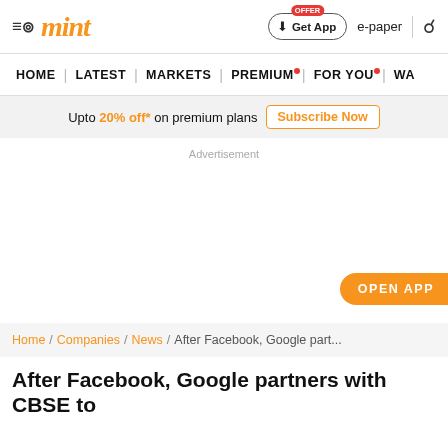mint
Upto 20% off* on premium plans Subscribe Now
Advertisement
OPEN APP
Home / Companies / News / After Facebook, Google part...
After Facebook, Google partners with CBSE to